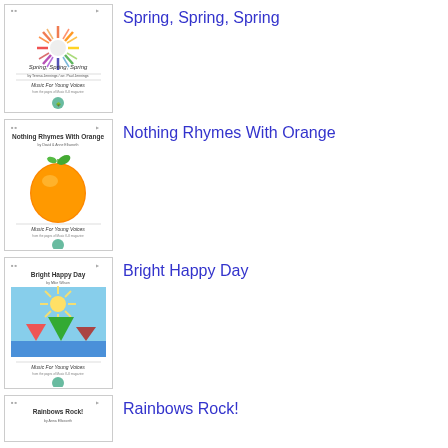[Figure (illustration): Book cover for 'Spring, Spring, Spring' - Music For Young Voices, showing colorful starburst design]
Spring, Spring, Spring
[Figure (illustration): Book cover for 'Nothing Rhymes With Orange' - Music For Young Voices, showing an orange fruit]
Nothing Rhymes With Orange
[Figure (illustration): Book cover for 'Bright Happy Day' - Music For Young Voices, showing a sun over water with colorful triangles]
Bright Happy Day
[Figure (illustration): Book cover for 'Rainbows Rock!' - partially visible]
Rainbows Rock!